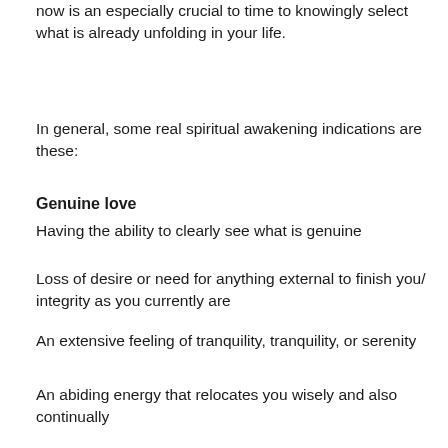now is an especially crucial to time to knowingly select what is already unfolding in your life.
In general, some real spiritual awakening indications are these:
Genuine love
Having the ability to clearly see what is genuine
Loss of desire or need for anything external to finish you/ integrity as you currently are
An extensive feeling of tranquility, tranquility, or serenity
An abiding energy that relocates you wisely and also continually